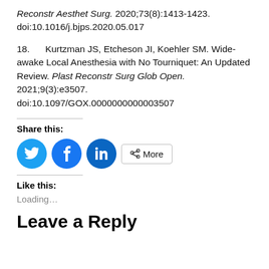Reconstr Aesthet Surg. 2020;73(8):1413-1423. doi:10.1016/j.bjps.2020.05.017
18. Kurtzman JS, Etcheson JI, Koehler SM. Wide-awake Local Anesthesia with No Tourniquet: An Updated Review. Plast Reconstr Surg Glob Open. 2021;9(3):e3507. doi:10.1097/GOX.0000000000003507
Share this:
[Figure (other): Social share buttons: Twitter (blue bird icon), Facebook (blue f icon), LinkedIn (blue in icon), and a More button with share icon]
Like this:
Loading...
Leave a Reply